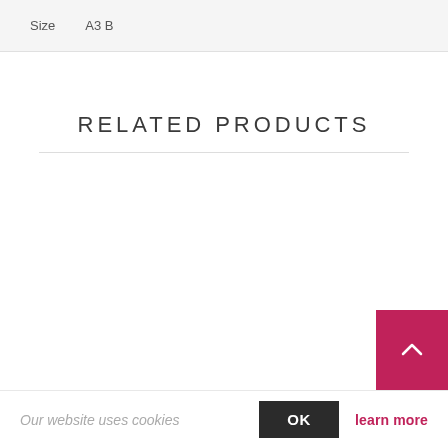Size   A3 B
RELATED PRODUCTS
Our website uses cookies
OK
learn more